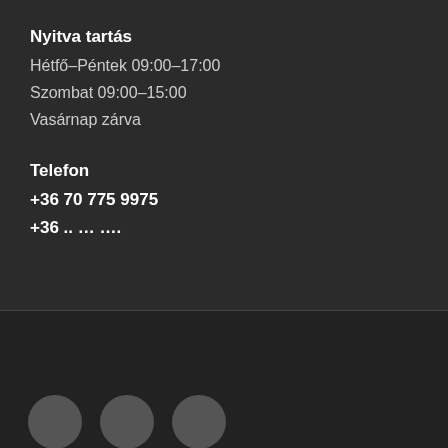Nyitva tartás
Hétfő–Péntek 09:00–17:00
Szombat 09:00–15:00
Vasárnap zárva
Telefon
+36 70 775 9975
+36 .. … ….